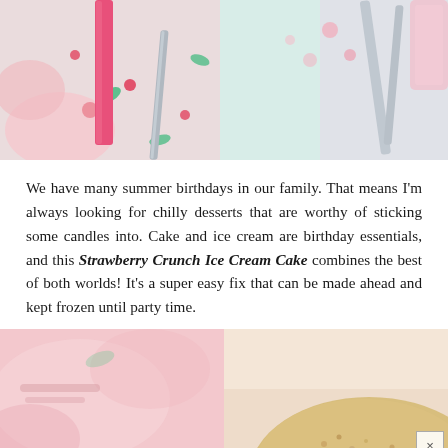[Figure (photo): Top-down photo of birthday party setup with pink candles, cherry-patterned napkins/plates, silverware on a light blue background]
We have many summer birthdays in our family. That means I'm always looking for chilly desserts that are worthy of sticking some candles into. Cake and ice cream are birthday essentials, and this Strawberry Crunch Ice Cream Cake combines the best of both worlds! It's a super easy fix that can be made ahead and kept frozen until party time.
[Figure (photo): Bottom-left: blurry pink/red dessert or party item photo]
[Figure (photo): Bottom-right: close-up of a crumb-coated ice cream cake slice showing golden/beige crunch topping]